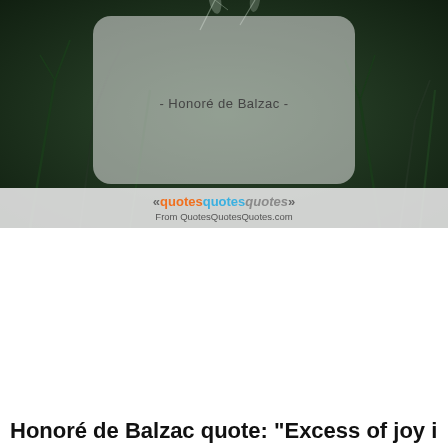[Figure (photo): A quote card over a dark nature/plant background photo. A semi-transparent rounded rectangle card is centered in the upper portion. The text '- Honoré de Balzac -' appears in the card. At the bottom of the image is a logo bar reading «quotesquotesquotes» and 'From QuotesQuotesQuotes.com'.]
Honoré de Balzac quote: "Excess of joy is...